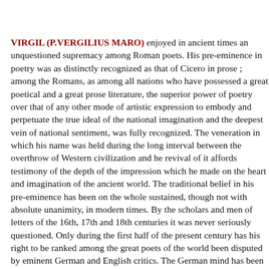VIRGIL (P.VERGILIUS MARO) enjoyed in ancient times an unquestioned supremacy among Roman poets. His pre-eminence in poetry was as distinctly recognized as that of Cicero in prose ; among the Romans, as among all nations who have possessed a great poetical and a great prose literature, the superior power of poetry over that of any other mode of artistic expression to embody and perpetuate the true ideal of the national imagination and the deepest vein of national sentiment, was fully recognized. The veneration in which his name was held during the long interval between the overthrow of Western civilization and he revival of it affords testimony of the depth of the impression which he made on the heart and imagination of the ancient world. The traditional belief in his pre-eminence has been on the whole sustained, though not with absolute unanimity, in modern times. By the scholars and men of letters of the 16th, 17th and 18th centuries it was never seriously questioned. Only during the first half of the present century has his right to be ranked among the great poets of the world been disputed by eminent German and English critics. The German mind has always been more in sympathy with the art and genius of Greece than with Rome and Italy ; and during the first half of the present century, when English criticism first came under German influence, there was